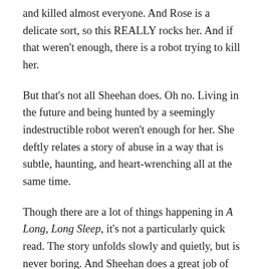and killed almost everyone. And Rose is a delicate sort, so this REALLY rocks her. And if that weren't enough, there is a robot trying to kill her.
But that's not all Sheehan does. Oh no. Living in the future and being hunted by a seemingly indestructible robot weren't enough for her. She deftly relates a story of abuse in a way that is subtle, haunting, and heart-wrenching all at the same time.
Though there are a lot of things happening in A Long, Long Sleep, it's not a particularly quick  read. The story unfolds slowly and quietly, but is never boring. And Sheehan does a great job of creating  a world that feels foreign from our own, but is also similar enough that it doesn't take a great deal of suspended belief to, well, believe in it.